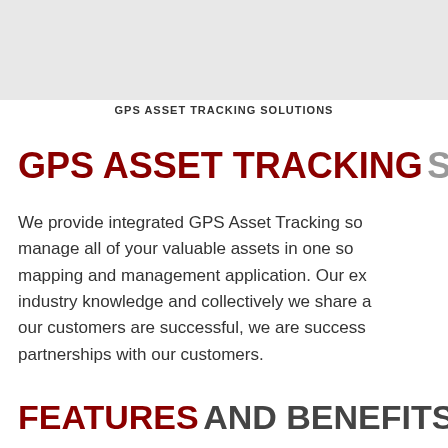GPS ASSET TRACKING SOLUTIONS
GPS ASSET TRACKING SOLUTIONS
We provide integrated GPS Asset Tracking solutions to manage all of your valuable assets in one sophisticated mapping and management application. Our experienced industry knowledge and collectively we share a vision that if our customers are successful, we are successful. We build partnerships with our customers.
FEATURES AND BENEFITS: